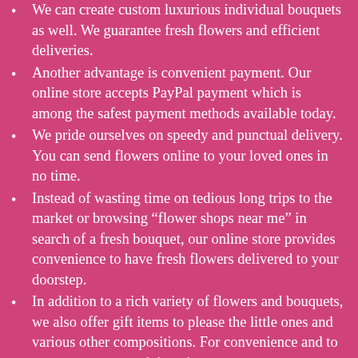We can create custom luxurious individual bouquets as well. We guarantee fresh flowers and efficient deliveries.
Another advantage is convenient payment. Our online store accepts PayPal payment which is among the safest payment methods available today.
We pride ourselves on speedy and punctual delivery. You can send flowers online to your loved ones in no time.
Instead of wasting time on tedious long trips to the market or browsing “flower shops near me” in search of a fresh bouquet, our online store provides convenience to have fresh flowers delivered to your doorstep.
In addition to a rich variety of flowers and bouquets, we also offer gift items to please the little ones and various other compositions. For convenience and to save our customers’ time, in